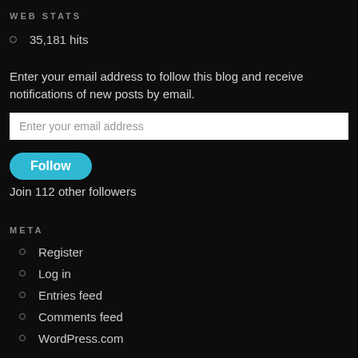WEB STATS
35,181 hits
Enter your email address to follow this blog and receive notifications of new posts by email.
Enter your email address
Follow
Join 112 other followers
META
Register
Log in
Entries feed
Comments feed
WordPress.com
CATEGORIES